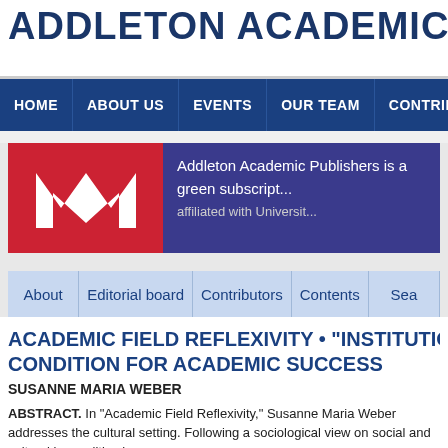ADDLETON ACADEMIC PUBLIS
HOME | ABOUT US | EVENTS | OUR TEAM | CONTRIBUTORS | PEER REV
[Figure (logo): Addleton Academic Publishers logo: red background with white stylized M, beside navy blue box with text 'Addleton Academic Publishers is a green subscript... affiliated with Universit...']
About | Editorial board | Contributors | Contents | Sea
ACADEMIC FIELD REFLEXIVITY • "INSTITUTIO... CONDITION FOR ACADEMIC SUCCESS
SUSANNE MARIA WEBER
ABSTRACT. In "Academic Field Reflexivity," Susanne Maria Weber addresses the cultural setting. Following a sociological view on social and cultural inequalities in